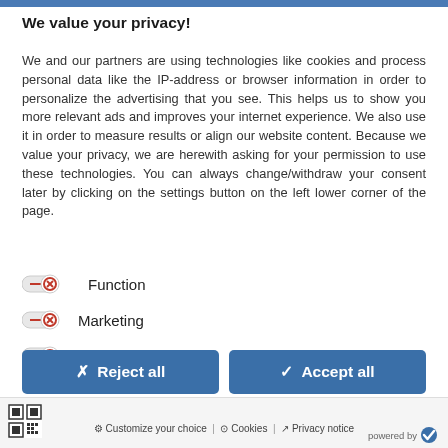We value your privacy!
We and our partners are using technologies like cookies and process personal data like the IP-address or browser information in order to personalize the advertising that you see. This helps us to show you more relevant ads and improves your internet experience. We also use it in order to measure results or align our website content. Because we value your privacy, we are herewith asking for your permission to use these technologies. You can always change/withdraw your consent later by clicking on the settings button on the left lower corner of the page.
Function
Marketing
Preferences
✗ Reject all   ✓ Accept all
Customize your choice | Cookies | Privacy notice   powered by